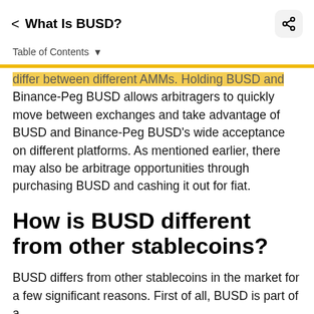< What Is BUSD?
Table of Contents ▾
differ between different AMMs. Holding BUSD and Binance-Peg BUSD allows arbitragers to quickly move between exchanges and take advantage of BUSD and Binance-Peg BUSD's wide acceptance on different platforms. As mentioned earlier, there may also be arbitrage opportunities through purchasing BUSD and cashing it out for fiat.
How is BUSD different from other stablecoins?
BUSD differs from other stablecoins in the market for a few significant reasons. First of all, BUSD is part of a